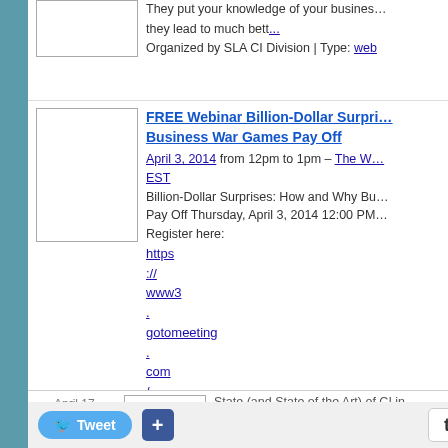[Figure (other): Thumbnail image placeholder (top entry, partially visible)]
They put your knowledge of your business... they lead to much bett...
Organized by SLA CI Division | Type: web
[Figure (other): Thumbnail image placeholder (second entry)]
FREE Webinar Billion-Dollar Surpri... Business War Games Pay Off
April 3, 2014 from 12pm to 1pm – The W... EST
Billion-Dollar Surprises: How and Why Bu... Pay Off Thursday, April 3, 2014 12:00 PM... Register here:
https
://
www3
.
gotomeeting
.
com
/
register
/
119670214
Sponsored by the SLA CI...
Organized by Cindy Romaine | Type: web
[Figure (other): Thumbnail image placeholder (bottom partial entry)]
April 17, Thursday | State (and State of the Art) of CI in...